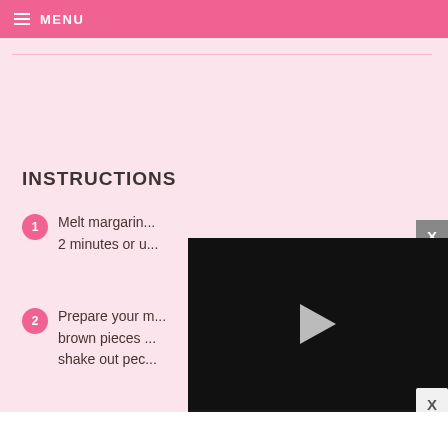MENU
INSTRUCTIONS
Melt margarine... 2 minutes or u...
Prepare your... brown pieces... shake out pec...
[Figure (screenshot): Video player overlay showing paused video with play button, progress bar, time 13:52, CC, grid, settings, and fullscreen controls]
Place brown sugar in a large bowl. Work out...